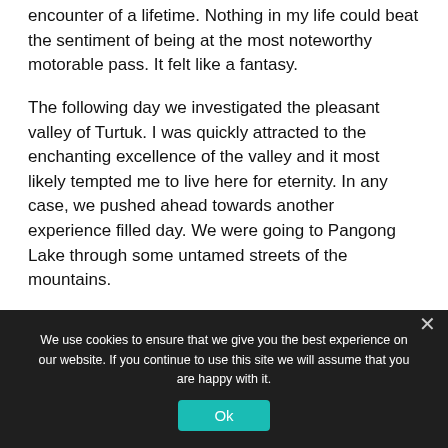encounter of a lifetime. Nothing in my life could beat the sentiment of being at the most noteworthy motorable pass. It felt like a fantasy.
The following day we investigated the pleasant valley of Turtuk. I was quickly attracted to the enchanting excellence of the valley and it most likely tempted me to live here for eternity. In any case, we pushed ahead towards another experience filled day. We were going to Pangong Lake through some untamed streets of the mountains.
The excellence of the lake was stunning as its waters
We use cookies to ensure that we give you the best experience on our website. If you continue to use this site we will assume that you are happy with it.